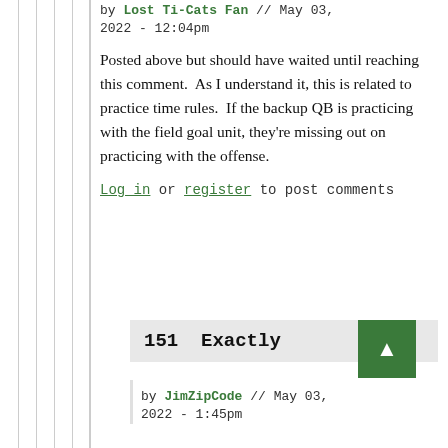by Lost Ti-Cats Fan // May 03, 2022 - 12:04pm
Posted above but should have waited until reaching this comment.  As I understand it, this is related to practice time rules.  If the backup QB is practicing with the field goal unit, they're missing out on practicing with the offense.
Log in or register to post comments
151  Exactly
by JimZipCode // May 03, 2022 - 1:45pm